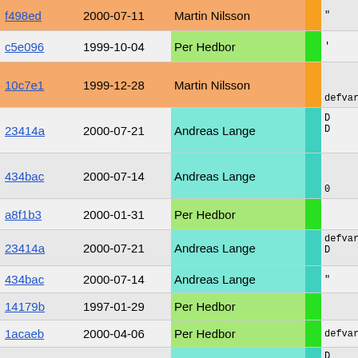| hash | date | author | bar | code |
| --- | --- | --- | --- | --- |
| f498ed | 2000-07-11 | Martin Nilsson | orange | " |
| c5e096 | 1999-10-04 | Per Hedbor | green | ' |
| 10c7e1 | 1999-12-28 | Martin Nilsson | orange | defvar(" |
| 23414a | 2000-07-21 | Andreas Lange | teal | D
D |
| 434bac | 2000-07-14 | Andreas Lange | teal | 0 |
| a8f1b3 | 2000-01-31 | Per Hedbor | green |  |
| 23414a | 2000-07-21 | Andreas Lange | teal | defvar("
D |
| 434bac | 2000-07-14 | Andreas Lange | teal | " |
| 14179b | 1997-01-29 | Per Hedbor | green |  |
| 1acaeb | 2000-04-06 | Per Hedbor | green-light | defvar(" |
| 23414a | 2000-07-21 | Andreas Lange | teal | D
D |
| 434bac | 2000-07-14 | Andreas Lange | teal |  |
| c551f2 | 2000-07-04 | Per Hedbor | green | defvar("
V |